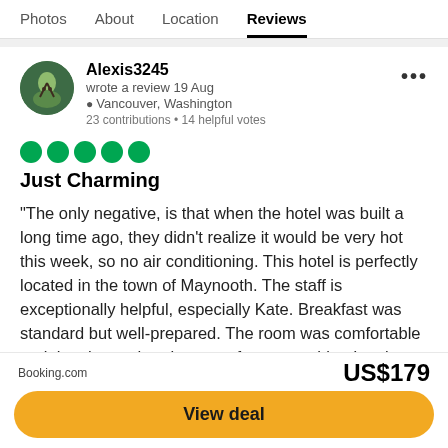Photos   About   Location   Reviews
Alexis3245
wrote a review 19 Aug
Vancouver, Washington
23 contributions • 14 helpful votes
[Figure (other): Five green filled circles representing a 5-bubble Tripadvisor rating]
Just Charming
“The only negative, is that when the hotel was built a long time ago, they didn’t realize it would be very hot this week, so no air conditioning. This hotel is perfectly located in the town of Maynooth. The staff is exceptionally helpful, especially Kate. Breakfast was standard but well-prepared. The room was comfortable and the shower head was perfect, something I notice
Booking.com   US$179   View deal